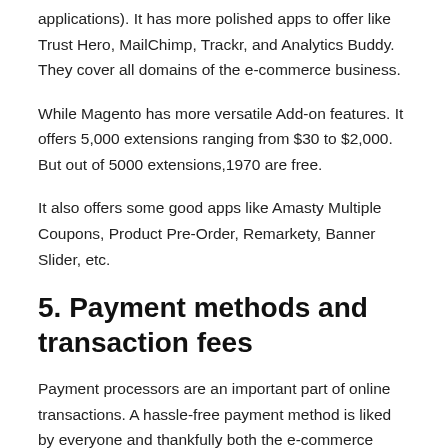applications). It has more polished apps to offer like Trust Hero, MailChimp, Trackr, and Analytics Buddy. They cover all domains of the e-commerce business.
While Magento has more versatile Add-on features. It offers 5,000 extensions ranging from $30 to $2,000. But out of 5000 extensions,1970 are free.
It also offers some good apps like Amasty Multiple Coupons, Product Pre-Order, Remarkety, Banner Slider, etc.
5. Payment methods and transaction fees
Payment processors are an important part of online transactions. A hassle-free payment method is liked by everyone and thankfully both the e-commerce giant offers this.